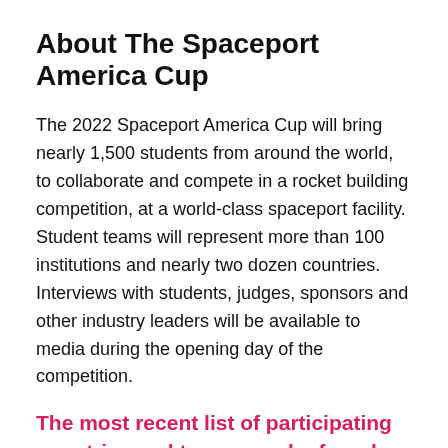About The Spaceport America Cup
The 2022 Spaceport America Cup will bring nearly 1,500 students from around the world, to collaborate and compete in a rocket building competition, at a world-class spaceport facility. Student teams will represent more than 100 institutions and nearly two dozen countries. Interviews with students, judges, sponsors and other industry leaders will be available to media during the opening day of the competition.
The most recent list of participating countries and teams can be found here.